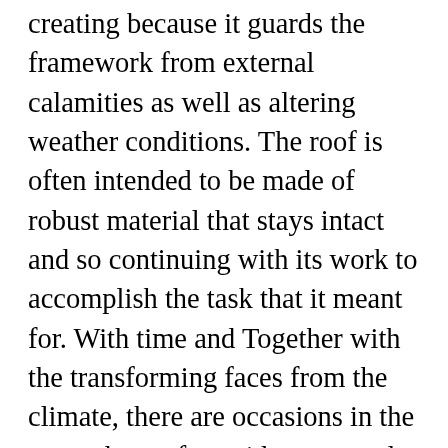creating because it guards the framework from external calamities as well as altering weather conditions. The roof is often intended to be made of robust material that stays intact and so continuing with its work to accomplish the task that it meant for. With time and Together with the transforming faces from the climate, there are occasions in the event the roof provides way and is particularly looking for a mend to convey to back again to its unique kind. Fixing a area isn't really any task that is not difficult as it Seems. It can be unachievable for almost any common guy to obtain to the roof and repair the numerous destruction. Roof fix is usually meant being used for b